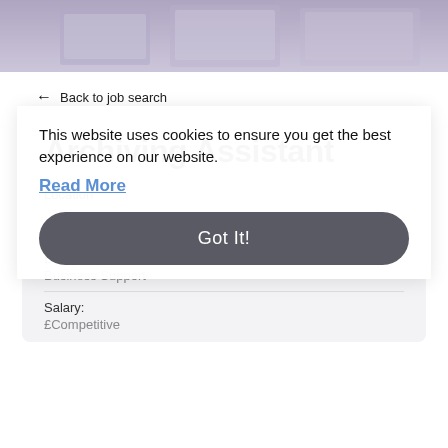[Figure (photo): Purple/lavender header banner image showing blurred interior background]
← Back to job search
Archiving Assistant
Location
Southampton
Discipline:
Business Support
Salary:
£Competitive
This website uses cookies to ensure you get the best experience on our website.
Read More
Got It!